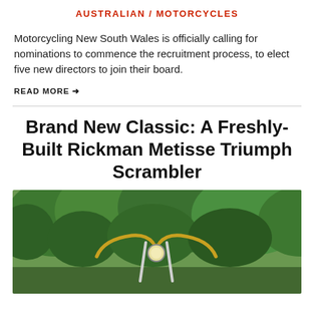AUSTRALIAN / MOTORCYCLES
Motorcycling New South Wales is officially calling for nominations to commence the recruitment process, to elect five new directors to join their board.
READ MORE →
Brand New Classic: A Freshly-Built Rickman Metisse Triumph Scrambler
[Figure (photo): Photo of a Rickman Metisse Triumph Scrambler motorcycle, shown outdoors with lush green trees in the background. The handlebars and front forks of the motorcycle are visible.]